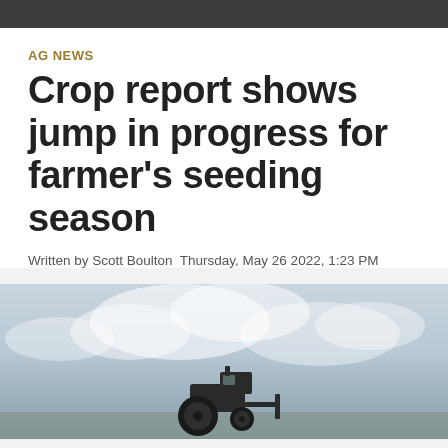AG NEWS
Crop report shows jump in progress for farmer's seeding season
Written by Scott Boulton  Thursday, May 26 2022, 1:23 PM
[Figure (photo): A farm tractor or seeding equipment silhouetted against a cloudy sky in an open field]